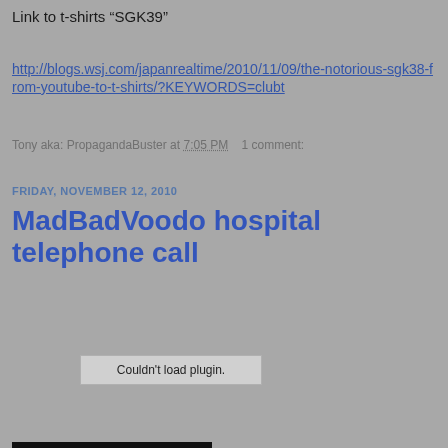Link to t-shirts “SGK39”
http://blogs.wsj.com/japanrealtime/2010/11/09/the-notorious-sgk38-from-youtube-to-t-shirts/?KEYWORDS=clubt
Tony aka: PropagandaBuster at 7:05 PM    1 comment:
FRIDAY, NOVEMBER 12, 2010
MadBadVoodo hospital telephone call
[Figure (other): Couldn't load plugin. placeholder box for embedded plugin/media content]